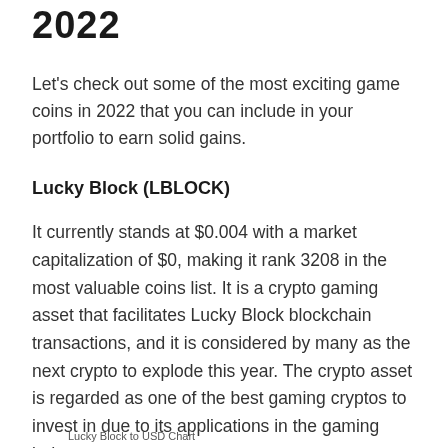2022
Let's check out some of the most exciting game coins in 2022 that you can include in your portfolio to earn solid gains.
Lucky Block (LBLOCK)
It currently stands at $0.004 with a market capitalization of $0, making it rank 3208 in the most valuable coins list. It is a crypto gaming asset that facilitates Lucky Block blockchain transactions, and it is considered by many as the next crypto to explode this year. The crypto asset is regarded as one of the best gaming cryptos to invest in due to its applications in the gaming industry.
Lucky Block to USD Chart